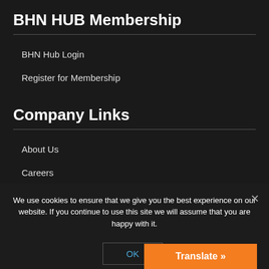BHN HUB Membership
BHN Hub Login
Register for Membership
Company Links
About Us
Careers
We use cookies to ensure that we give you the best experience on our website. If you continue to use this site we will assume that you are happy with it.
OK
Translate »